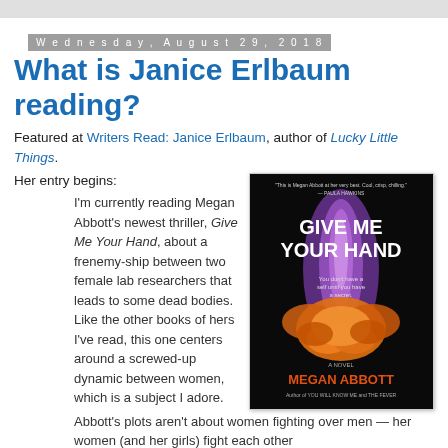Wednesday, August 29, 2018
What is Janice Erlbaum reading?
Featured at Writers Read: Janice Erlbaum, author of Lucky Little Things.
Her entry begins:
[Figure (photo): Book cover of 'Give Me Your Hand' by Megan Abbott. Dark background with a flaming yellow flower. Text reads: 'This is Megan Abbott at her very best. Cool, crisp, chilling. — PAULA HAWKINS'. Title: GIVE ME YOUR HAND. Tagline: You don't have a self until you have a secret. A NOVEL. Author: MEGAN ABBOTT. Author of YOU WILL KNOW ME and THE FEVER.]
I'm currently reading Megan Abbott's newest thriller, Give Me Your Hand, about a frenemy-ship between two female lab researchers that leads to some dead bodies. Like the other books of hers I've read, this one centers around a screwed-up dynamic between women, which is a subject I adore. Abbott's plots aren't about women fighting over men — her women (and her girls) fight each other